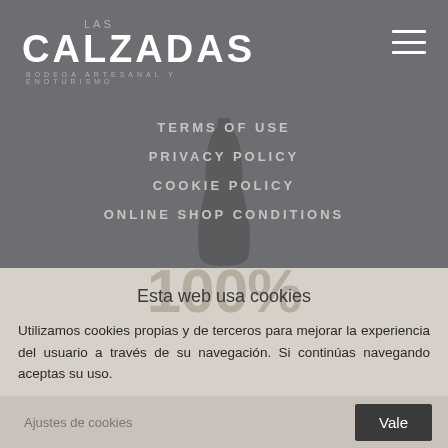[Figure (logo): Las Calzadas logo — Bodega Artesanal y Enoturismo, white text on grey background]
TERMS OF USE
PRIVACY POLICY
COOKIE POLICY
ONLINE SHOP CONDITIONS
Esta web usa cookies
Utilizamos cookies propias y de terceros para mejorar la experiencia del usuario a través de su navegación. Si continúas navegando aceptas su uso.
Ajustes de cookies
Vale